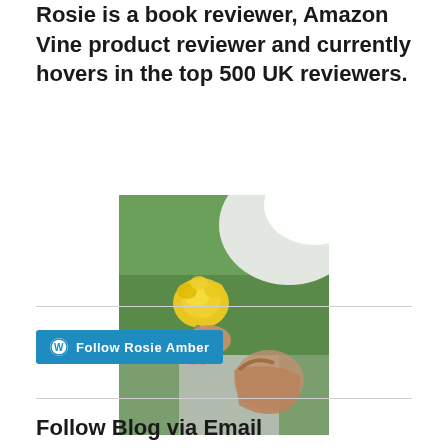Rosie is a book reviewer, Amazon Vine product reviewer and currently hovers in the top 500 UK reviewers.
[Figure (photo): A person holding a yellow rose outdoors, with green foliage in the background. The face is obscured/blurred. The person appears to be wearing a light-colored top and has a handbag.]
[Figure (other): Follow Rosie Amber button with WordPress icon, teal/blue background]
Follow Blog via Email